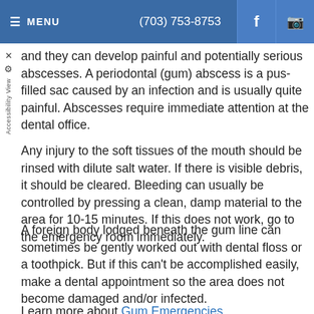≡ MENU   (703) 753-8753   f   [instagram]
and they can develop painful and potentially serious abscesses. A periodontal (gum) abscess is a pus-filled sac caused by an infection and is usually quite painful. Abscesses require immediate attention at the dental office.
Any injury to the soft tissues of the mouth should be rinsed with dilute salt water. If there is visible debris, it should be cleared. Bleeding can usually be controlled by pressing a clean, damp material to the area for 10-15 minutes. If this does not work, go to the emergency room immediately.
A foreign body lodged beneath the gum line can sometimes be gently worked out with dental floss or a toothpick. But if this can't be accomplished easily, make a dental appointment so the area does not become damaged and/or infected.
Learn more about Gum Emergencies